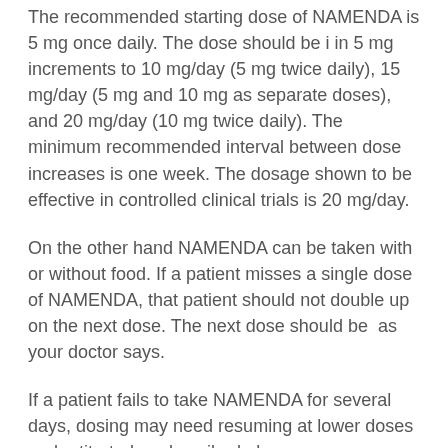The recommended starting dose of NAMENDA is 5 mg once daily. The dose should be i in 5 mg increments to 10 mg/day (5 mg twice daily), 15 mg/day (5 mg and 10 mg as separate doses), and 20 mg/day (10 mg twice daily). The minimum recommended interval between dose increases is one week. The dosage shown to be effective in controlled clinical trials is 20 mg/day.
On the other hand NAMENDA can be taken with or without food. If a patient misses a single dose of NAMENDA, that patient should not double up on the next dose. The next dose should be as your doctor says.
If a patient fails to take NAMENDA for several days, dosing may need resuming at lower doses and retitrated as described above.